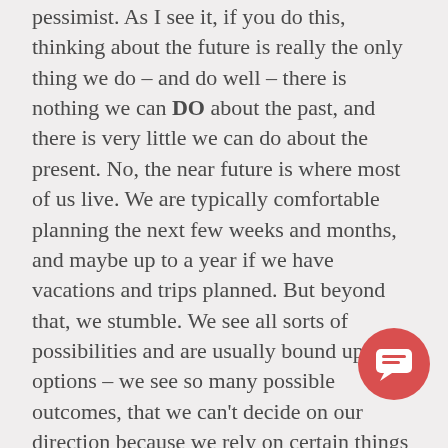pessimist. As I see it, if you do this, thinking about the future is really the only thing we do – and do well – there is nothing we can DO about the past, and there is very little we can do about the present. No, the near future is where most of us live. We are typically comfortable planning the next few weeks and months, and maybe up to a year if we have vacations and trips planned. But beyond that, we stumble. We see all sorts of possibilities and are usually bound up in options – we see so many possible outcomes, that we can't decide on our direction because we rely on certain things falling into place – some of which we have no control over – but there are many we do.
As I said, we can control our future, to a degree. And since we can control our future, we have more say in that future than we think. We have the full ability as well to change that future. Which is another reason why I find futurist programs so interesting – in groups where we do this, there is this little spark of